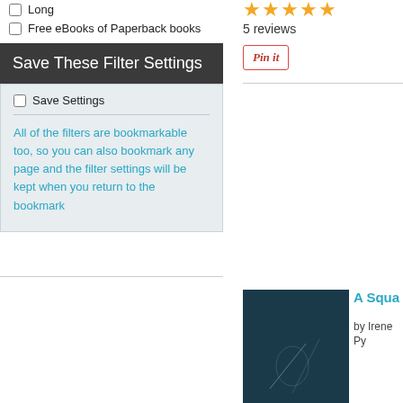Long
Free eBooks of Paperback books
Save These Filter Settings
Save Settings
All of the filters are bookmarkable too, so you can also bookmark any page and the filter settings will be kept when you return to the bookmark
[Figure (other): Five gold star rating icons]
5 reviews
[Figure (other): Pin it button in red italic font with border]
[Figure (photo): Dark teal/navy book cover thumbnail]
A Squ...
by Irene Py...